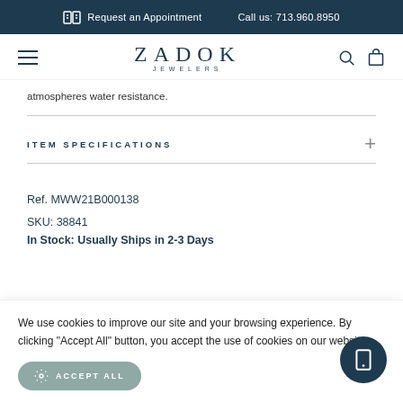Request an Appointment   Call us: 713.960.8950
[Figure (logo): Zadok Jewelers logo with hamburger menu, search and bag icons]
atmospheres water resistance.
ITEM SPECIFICATIONS
Ref. MWW21B000138
SKU: 38841
In Stock: Usually Ships in 2-3 Days
We use cookies to improve our site and your browsing experience. By clicking "Accept All" button, you accept the use of cookies on our website.